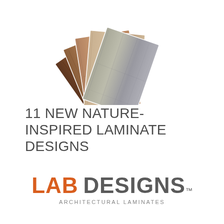[Figure (photo): Fan arrangement of wood laminate sample boards showing various wood grain textures in warm browns and cool grays, photographed from above on a white background.]
11 NEW NATURE-INSPIRED LAMINATE DESIGNS
[Figure (logo): LAB DESIGNS™ ARCHITECTURAL LAMINATES logo. LAB in orange bold, DESIGNS in dark gray bold with TM superscript, and ARCHITECTURAL LAMINATES in small spaced uppercase gray text below.]